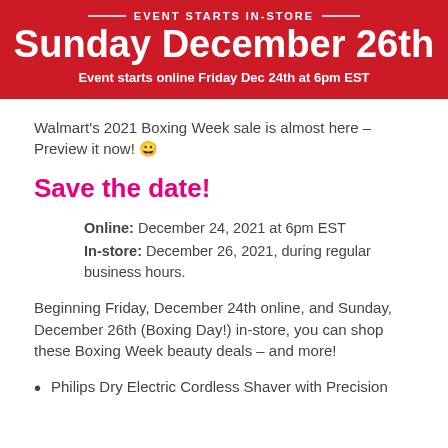[Figure (other): Red promotional banner with white text: EVENT STARTS IN-STORE / Sunday December 26th / Event starts online Friday Dec 24th at 6pm EST]
Walmart's 2021 Boxing Week sale is almost here – Preview it now! 😀
Save the date!
Online: December 24, 2021 at 6pm EST
In-store: December 26, 2021, during regular business hours.
Beginning Friday, December 24th online, and Sunday, December 26th (Boxing Day!) in-store, you can shop these Boxing Week beauty deals – and more!
Philips Dry Electric Cordless Shaver with Precision